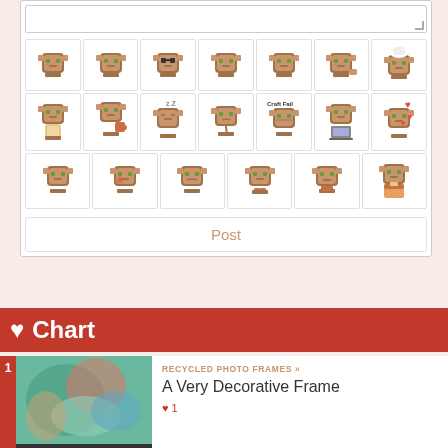[Figure (screenshot): A comment input area with a text box and a grid of pixel-art cat emoji icons (3 rows x 7 columns = 20 emoji cells), followed by a 'Post' button.]
♥ Chart
RECYCLED PHOTO FRAMES »
A Very Decorative Frame
♥ 1
HAIR & BEAUTY »
The Face Mirror...